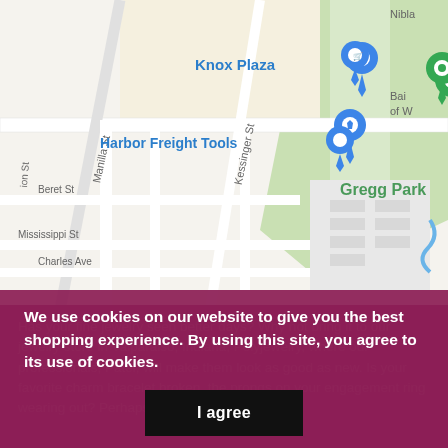[Figure (map): Google Maps view showing Knox Plaza (blue pin), Harbor Freight Tools (blue pin), Planet Fitness (green pin), and Gregg Park. Street names visible include Manilla St, Kessinger St, Beret St, Mississippi St, Charles Ave. Bank of America partially visible top right labeled 'Bai of W'.]
We use cookies on our website to give you the best shopping experience. By using this site, you agree to its use of cookies.
I agree